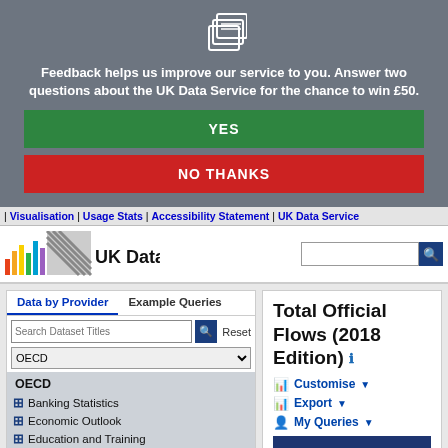Feedback helps us improve our service to you. Answer two questions about the UK Data Service for the chance to win £50.
YES
NO THANKS
| Visualisation | Usage Stats | Accessibility Statement | UK Data Service
[Figure (logo): UK Data Service logo with colourful bars and striped pattern]
Total Official Flows (2018 Edition)
Customise
Export
My Queries
| OECD |
| Banking Statistics |
| Economic Outlook |
| Education and Training |
| Employment and Labour Market |